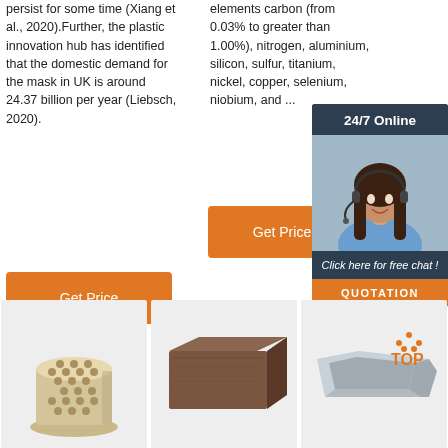persist for some time (Xiang et al., 2020).Further, the plastic innovation hub has identified that the domestic demand for the mask in UK is around 24.37 billion per year (Liebsch, 2020).
elements carbon (from 0.03% to greater than 1.00%), nitrogen, aluminium, silicon, sulfur, titanium, nickel, copper, selenium, niobium, and ...
[Figure (infographic): 24/7 Online chat widget with a woman wearing a headset, dark blue background, Click here for free chat!, QUOTATION button]
[Figure (photo): Cylindrical honeycomb ceramic refractory product]
[Figure (photo): Brown rectangular refractory brick]
[Figure (photo): Gray ceramic refractory trough/runner with TOP logo overlay]